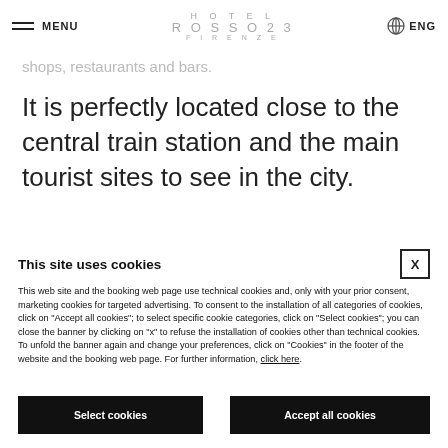MENU | HOTEL ROSSO23 FIRENZE | ENG
shops, restaurants and bars.
It is perfectly located close to the central train station and the main tourist sites to see in the city.
This site uses cookies
This web site and the booking web page use technical cookies and, only with your prior consent, marketing cookies for targeted advertising. To consent to the installation of all categories of cookies, click on "Accept all cookies"; to select specific cookie categories, click on "Select cookies"; you can close the banner by clicking on "x" to refuse the installation of cookies other than technical cookies. To unfold the banner again and change your preferences, click on "Cookies" in the footer of the website and the booking web page. For further information, click here.
Select cookies
Accept all cookies